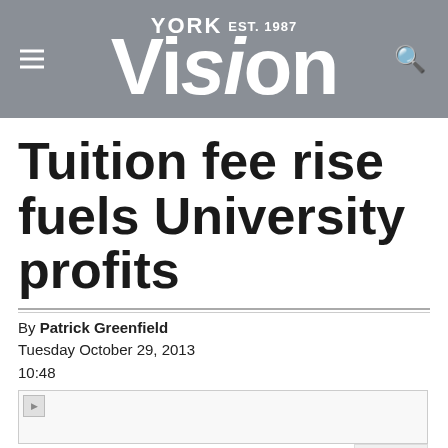York Vision EST. 1987
Tuition fee rise fuels University profits
By Patrick Greenfield
Tuesday October 29, 2013
10:48
[Figure (photo): Article image placeholder, appears broken/unloaded]